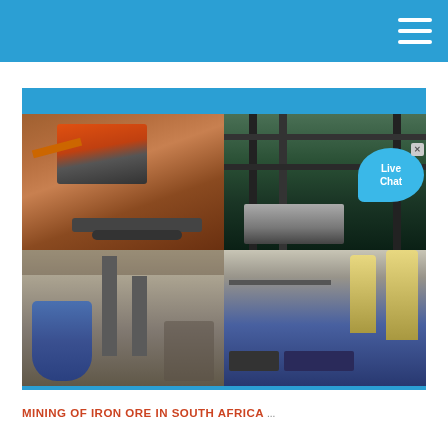[Figure (photo): A 2x2 grid of industrial mining and processing equipment photos: top-left shows an outdoor mobile crusher/conveyor on reddish soil; top-right shows an indoor industrial structure with metal framework and machinery; bottom-left shows indoor grinding mills with blue machinery; bottom-right shows industrial dust collector towers inside a large building. A Live Chat bubble overlay appears in top-right area.]
MINING OF IRON ORE IN SOUTH AFRICA